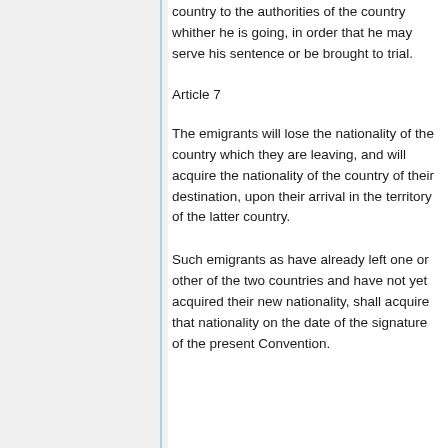over by the authorities of the proceeding country to the authorities of the country whither he is going, in order that he may serve his sentence or be brought to trial.
Article 7
The emigrants will lose the nationality of the country which they are leaving, and will acquire the nationality of the country of their destination, upon their arrival in the territory of the latter country.
Such emigrants as have already left one or other of the two countries and have not yet acquired their new nationality, shall acquire that nationality on the date of the signature of the present Convention.